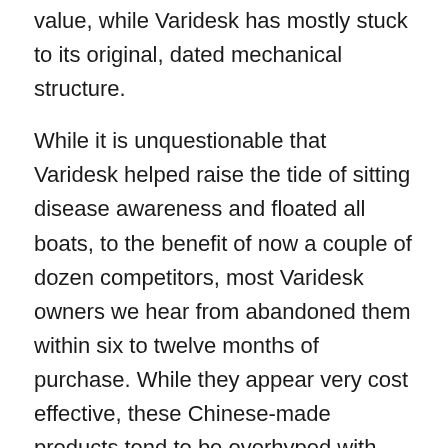value, while Varidesk has mostly stuck to its original, dated mechanical structure.
While it is unquestionable that Varidesk helped raise the tide of sitting disease awareness and floated all boats, to the benefit of now a couple of dozen competitors, most Varidesk owners we hear from abandoned them within six to twelve months of purchase. While they appear very cost effective, these Chinese-made products tend to be overhyped with glitzy advertising claims, yet ergonomically deficient. Hence not only the rampant number of new competitors continuing to appear on the market every month but the ballooning number of online searches for “varidesk alternative” into Google.